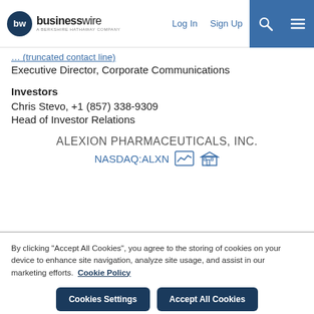businesswire — A BERKSHIRE HATHAWAY COMPANY | Log In | Sign Up
Executive Director, Corporate Communications
Investors
Chris Stevo, +1 (857) 338-9309
Head of Investor Relations
ALEXION PHARMACEUTICALS, INC.
NASDAQ:ALXN
By clicking "Accept All Cookies", you agree to the storing of cookies on your device to enhance site navigation, analyze site usage, and assist in our marketing efforts. Cookie Policy
Cookies Settings
Accept All Cookies